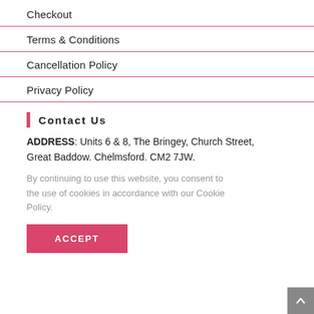Checkout
Terms & Conditions
Cancellation Policy
Privacy Policy
Contact Us
ADDRESS: Units 6 & 8, The Bringey, Church Street, Great Baddow. Chelmsford. CM2 7JW.
By continuing to use this website, you consent to the use of cookies in accordance with our Cookie Policy.
ACCEPT